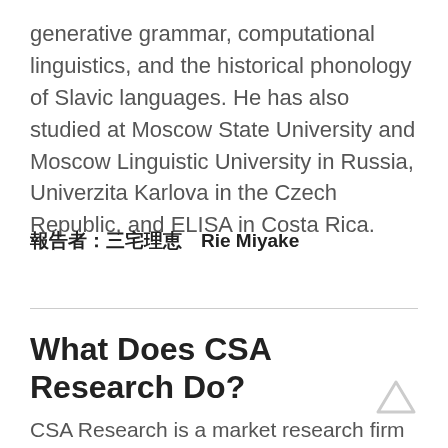generative grammar, computational linguistics, and the historical phonology of Slavic languages. He has also studied at Moscow State University and Moscow Linguistic University in Russia, Univerzita Karlova in the Czech Republic, and ELISA in Costa Rica.
報告者：三宅理恵　Rie Miyake
What Does CSA Research Do?
CSA Research is a market research firm that